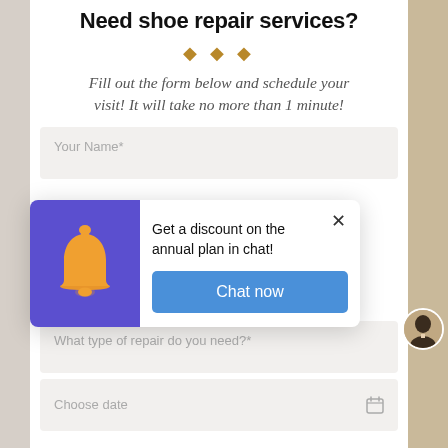Need shoe repair services?
[Figure (illustration): Three orange diamond decorative shapes]
Fill out the form below and schedule your visit! It will take no more than 1 minute!
[Figure (screenshot): A popup notification overlay with a purple background area showing an orange bell icon on the left, a close X button at top right, text 'Get a discount on the annual plan in chat!' and a blue 'Chat now' button below.]
Your Name*
What type of repair do you need?*
Choose date